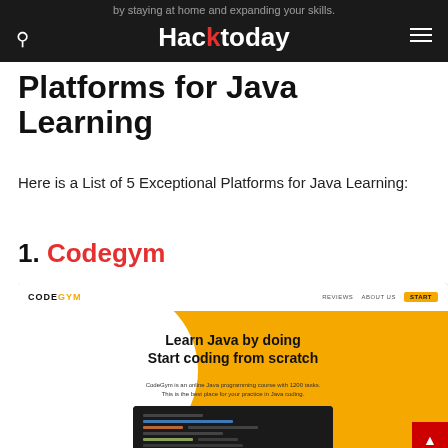HackToday — by staying at home and expanding your skills
Platforms for Java Learning
Here is a List of 5 Exceptional Platforms for Java Learning:
1. Codegym
[Figure (screenshot): Screenshot of CodeGym website showing orange background with 'Learn Java by doing / Start coding from scratch' headline, CodeGym logo in nav, Reviews, About Us, Start buttons, and a laptop displaying code]